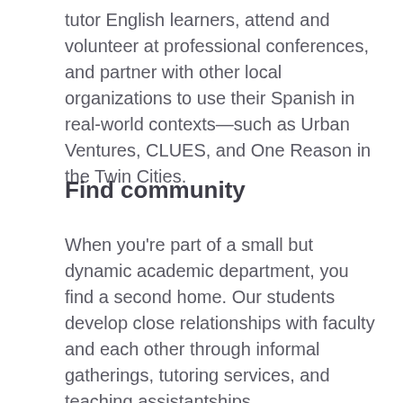tutor English learners, attend and volunteer at professional conferences, and partner with other local organizations to use their Spanish in real-world contexts—such as Urban Ventures, CLUES, and One Reason in the Twin Cities.
Find community
When you're part of a small but dynamic academic department, you find a second home. Our students develop close relationships with faculty and each other through informal gatherings, tutoring services, and teaching assistantships.